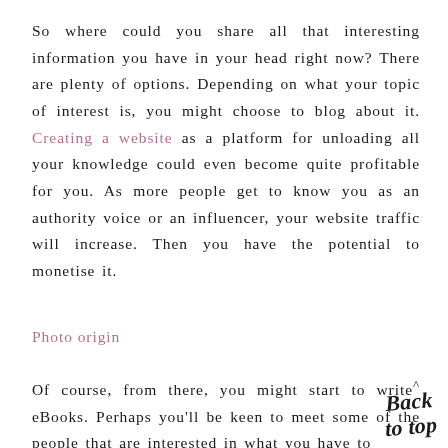So where could you share all that interesting information you have in your head right now? There are plenty of options. Depending on what your topic of interest is, you might choose to blog about it. Creating a website as a platform for unloading all your knowledge could even become quite profitable for you. As more people get to know you as an authority voice or an influencer, your website traffic will increase. Then you have the potential to monetise it.
Photo origin
Of course, from there, you might start to write eBooks. Perhaps you'll be keen to meet some of the people that are interested in what you have to